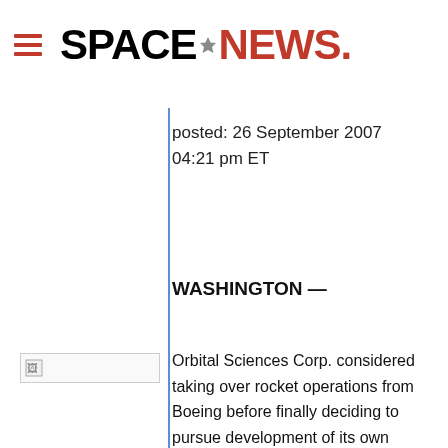SpaceNews
posted: 26 September 2007
04:21 pm ET
[Figure (photo): Broken/unloaded image placeholder in left sidebar]
WASHINGTON —
Orbital Sciences Corp. considered taking over rocket operations from Boeing before finally deciding to pursue development of its own solution for orbital-sized payloads, which are becoming increasingly difficult to launch and a lower priority for the major launch